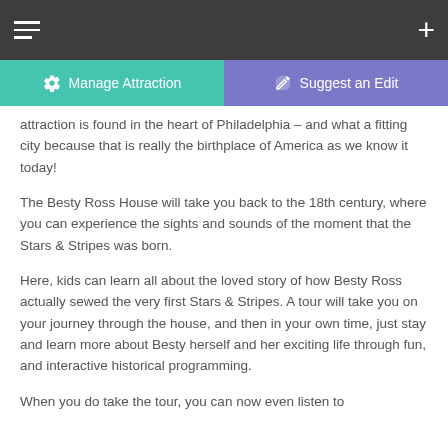...attraction is found in the heart of Philadelphia – and what a fitting city because that is really the birthplace of America as we know it today!
The Besty Ross House will take you back to the 18th century, where you can experience the sights and sounds of the moment that the Stars & Stripes was born.
Here, kids can learn all about the loved story of how Besty Ross actually sewed the very first Stars & Stripes. A tour will take you on your journey through the house, and then in your own time, just stay and learn more about Besty herself and her exciting life through fun, and interactive historical programming.
When you do take the tour, you can now even listen to